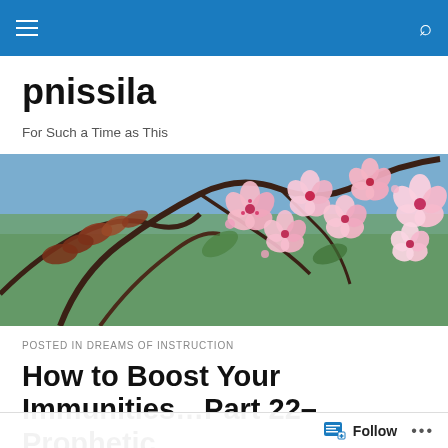pnissila [navigation bar with hamburger menu and search icon]
pnissila
For Such a Time as This
[Figure (photo): Banner photo of pink cherry blossoms on branches with green leaves and blue sky background]
POSTED IN DREAMS OF INSTRUCTION
How to Boost Your Immunities…Part 22–Prophetic Dream?
Follow ···